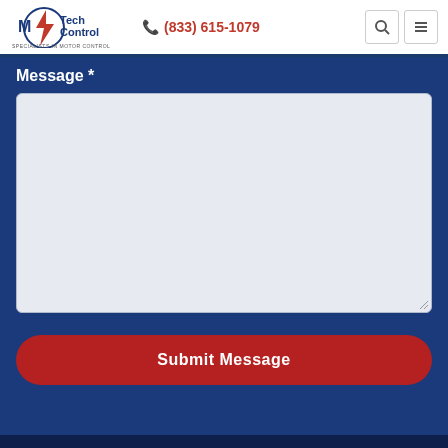[Figure (logo): M/Tech Control logo with lightning bolt - SPECIALISTS IN MOTOR CONTROL]
(833) 615-1079
Message *
Submit Message